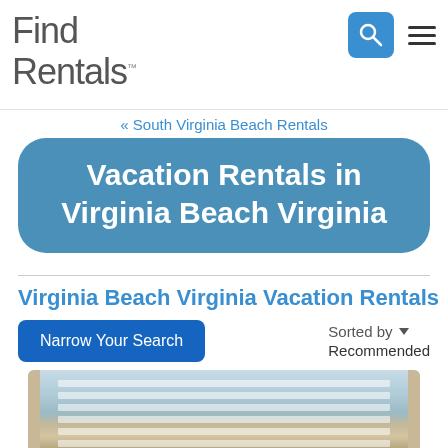Find Rentals
« South Virginia Beach Rentals
Vacation Rentals in Virginia Beach Virginia
Virginia Beach Virginia Vacation Rentals
Narrow Your Search
Sorted by Recommended
[Figure (photo): Photo of a beach view through window blinds/shutters]